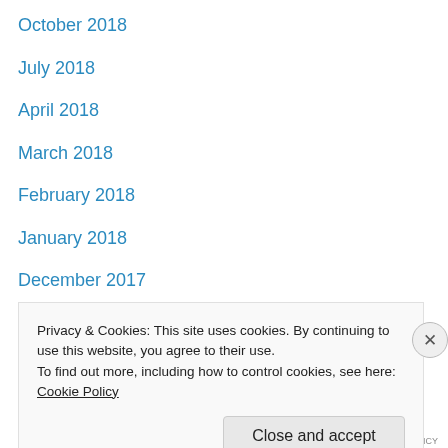October 2018
July 2018
April 2018
March 2018
February 2018
January 2018
December 2017
November 2017
October 2017
August 2017
July 2017
April 2017
March 2017
October 2016
Privacy & Cookies: This site uses cookies. By continuing to use this website, you agree to their use. To find out more, including how to control cookies, see here: Cookie Policy
Close and accept